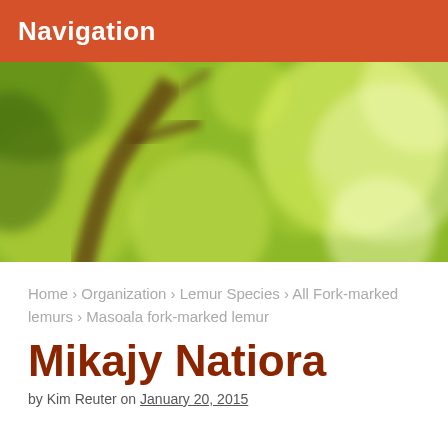Navigation
[Figure (photo): Blurred green bokeh foliage with tree branches, soft natural light, outdoor nature background]
Home › Organization › Lemur Species › All Fork-marked lemurs › Masoala fork-marked lemur
Mikajy Natiora
by Kim Reuter on January 20, 2015